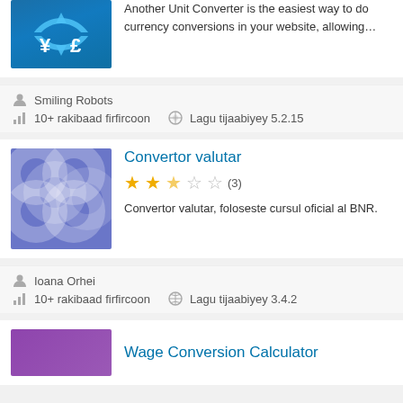[Figure (screenshot): Currency converter plugin icon with yen and pound symbols]
Another Unit Converter is the easiest way to do currency conversions in your website, allowing…
Smiling Robots
10+ rakibaad firfircoon
Lagu tijaabiyey 5.2.15
[Figure (screenshot): Convertor valutar plugin icon - blue/purple circles pattern]
Convertor valutar
★★★☆☆ (3)
Convertor valutar, foloseste cursul oficial al BNR.
Ioana Orhei
10+ rakibaad firfircoon
Lagu tijaabiyey 3.4.2
[Figure (screenshot): Wage Conversion Calculator plugin icon - purple background]
Wage Conversion Calculator